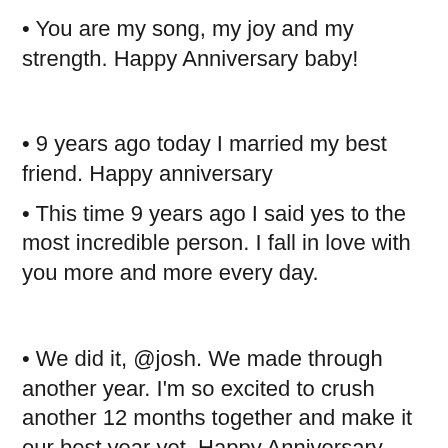You are my song, my joy and my strength. Happy Anniversary baby!
9 years ago today I married my best friend. Happy anniversary
This time 9 years ago I said yes to the most incredible person. I fall in love with you more and more every day.
We did it, @josh. We made through another year. I'm so excited to crush another 12 months together and make it our best year yet. Happy Anniversary, honey!